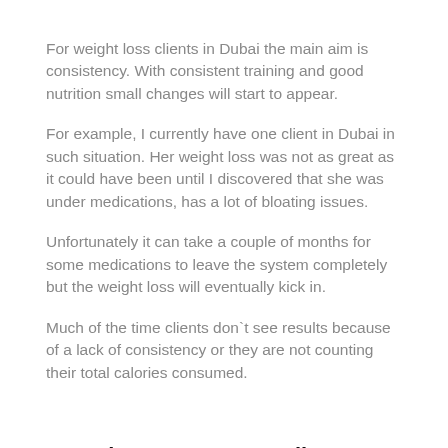For weight loss clients in Dubai the main aim is consistency. With consistent training and good nutrition small changes will start to appear.
For example, I currently have one client in Dubai in such situation. Her weight loss was not as great as it could have been until I discovered that she was under medications, has a lot of bloating issues.
Unfortunately it can take a couple of months for some medications to leave the system completely but the weight loss will eventually kick in.
Much of the time clients don`t see results because of a lack of consistency or they are not counting their total calories consumed.
Question 3: To ensure client's goals are on track how often do you monitor their progress?